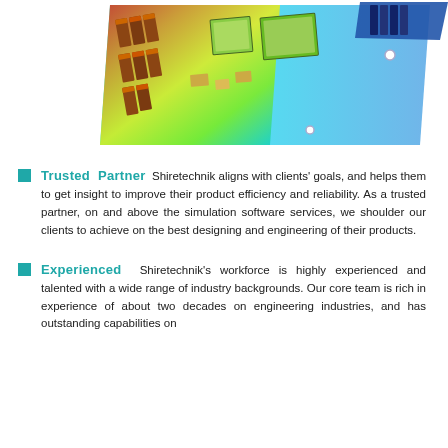[Figure (engineering-diagram): 3D thermal simulation of a printed circuit board (PCB) showing heat distribution with a color gradient from red/orange (hottest) through yellow, green, cyan to blue (coolest). Components including capacitors and ICs are visible on the board.]
Trusted Partner  Shiretechnik aligns with clients' goals, and helps them to get insight to improve their product efficiency and reliability. As a trusted partner, on and above the simulation software services, we shoulder our clients to achieve on the best designing and engineering of their products.
Experienced  Shiretechnik's workforce is highly experienced and talented with a wide range of industry backgrounds. Our core team is rich in experience of about two decades on engineering industries, and has outstanding capabilities on development of CFD and structural based products.